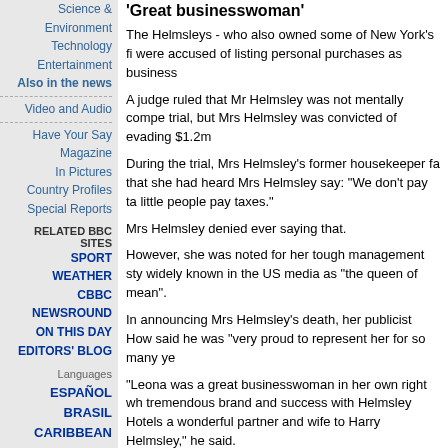Science & Environment
Technology
Entertainment
Also in the news
Video and Audio
Have Your Say
Magazine
In Pictures
Country Profiles
Special Reports
RELATED BBC SITES
SPORT
WEATHER
CBBC NEWSROUND
ON THIS DAY
EDITORS' BLOG
Languages
ESPAÑOL
BRASIL
CARIBBEAN
MORE >
'Great businesswoman'
The Helmsleys - who also owned some of New York's fi were accused of listing personal purchases as business
A judge ruled that Mr Helmsley was not mentally compe trial, but Mrs Helmsley was convicted of evading $1.2m
During the trial, Mrs Helmsley's former housekeeper fa that she had heard Mrs Helmsley say: "We don't pay ta little people pay taxes."
Mrs Helmsley denied ever saying that.
However, she was noted for her tough management sty widely known in the US media as "the queen of mean".
In announcing Mrs Helmsley's death, her publicist How said he was "very proud to represent her for so many ye
"Leona was a great businesswoman in her own right wh tremendous brand and success with Helmsley Hotels a wonderful partner and wife to Harry Helmsley," he said.
"She was extremely generous as a philanthropist and s millions of dollars to charity right up until the last month Rubenstein said.
'Magical life'
Mrs Helmsley was a former model and a twice-divorce